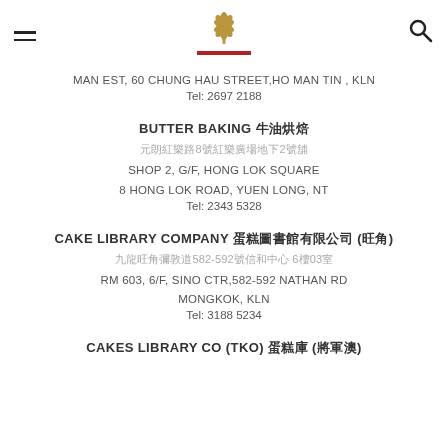[Figure (logo): Gold lotus/leaf logo with red underline bar, hamburger menu icon on left, search icon on right]
MAN EST, 60 CHUNG HAU STREET,HO MAN TIN , KLN
Tel: 2697 2188
BUTTER BAKING 牛油烘焙
元朗紅樂路8號紅樂廣場地下2號舖
SHOP 2, G/F, HONG LOK SQUARE
8 HONG LOK ROAD, YUEN LONG, NT
Tel: 2343 5328
CAKE LIBRARY COMPANY 蛋糕圖書館有限公司 (旺角)
九龍旺角彌敦道582-592號信和中心 6樓03室
RM 603, 6/F, SINO CTR,582-592 NATHAN RD
MONGKOK, KLN
Tel: 3188 5234
CAKES LIBRARY CO (TKO) 蛋糕庫 (將軍澳)